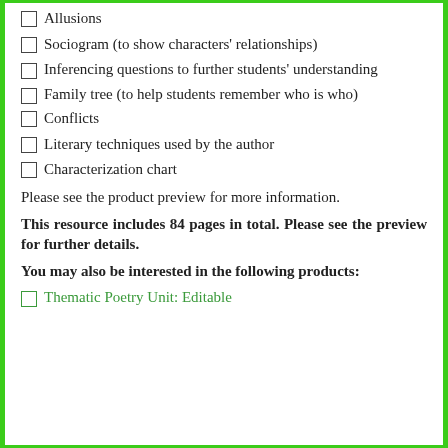Allusions
Sociogram (to show characters' relationships)
Inferencing questions to further students' understanding
Family tree (to help students remember who is who)
Conflicts
Literary techniques used by the author
Characterization chart
Please see the product preview for more information.
This resource includes 84 pages in total. Please see the preview for further details.
You may also be interested in the following products:
Thematic Poetry Unit: Editable